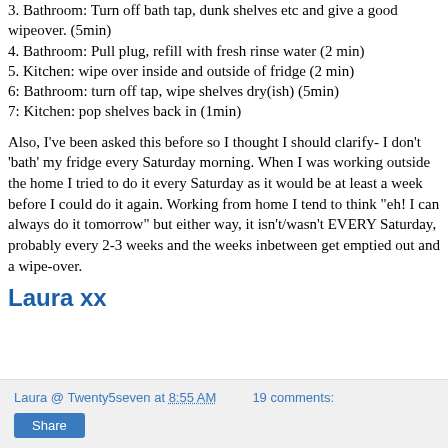3. Bathroom: Turn off bath tap, dunk shelves etc and give a good wipeover. (5min)
4. Bathroom: Pull plug, refill with fresh rinse water (2 min)
5. Kitchen: wipe over inside and outside of fridge (2 min)
6: Bathroom: turn off tap, wipe shelves dry(ish) (5min)
7: Kitchen: pop shelves back in (1min)
Also, I've been asked this before so I thought I should clarify- I don't 'bath' my fridge every Saturday morning. When I was working outside the home I tried to do it every Saturday as it would be at least a week before I could do it again. Working from home I tend to think "eh! I can always do it tomorrow" but either way, it isn't/wasn't EVERY Saturday, probably every 2-3 weeks and the weeks inbetween get emptied out and a wipe-over.
Laura xx
Laura @ Twenty5seven at 8:55 AM  19 comments:  Share